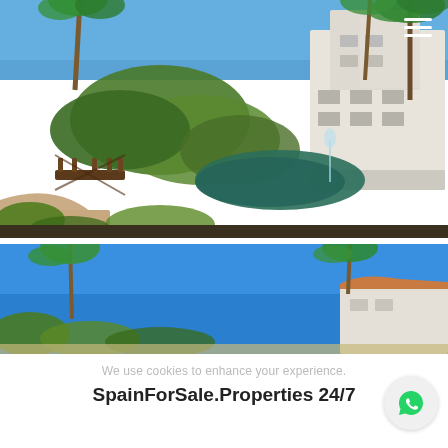[Figure (photo): Aerial/ground-level view of a luxury residential complex with lush gardens, palm trees, a wooden bridge, pond with fountain, and white apartment buildings in the background.]
[Figure (photo): Second photo of the same property complex showing a bright blue sky, palm trees, and white villa/building partially visible on the right side.]
We use cookies to enhance your experience.
SpainForSale.Properties 24/7
Ok